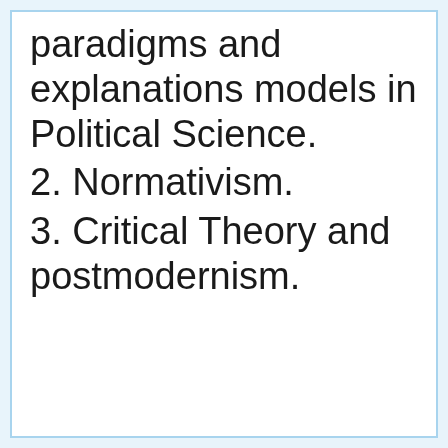paradigms and explanations models in Political Science.
2. Normativism.
3. Critical Theory and postmodernism.